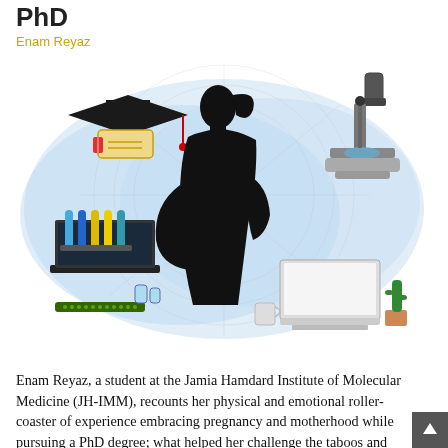PhD
Enam Reyaz
[Figure (illustration): Illustration showing a pregnant woman silhouette in black center, surrounded by science/academia symbols: graduation cap with diploma (top left), microscope (top right), laptop with test tubes/lab equipment (bottom left), laptop/computer setup with cactus (bottom right), all on a light blue watercolor background with architectural line drawings]
Enam Reyaz, a student at the Jamia Hamdard Institute of Molecular Medicine (JH-IMM), recounts her physical and emotional roller-coaster of experience embracing pregnancy and motherhood while pursuing a PhD degree; what helped her challenge the taboos and what more can be done by research institutions to support expectant mothers.